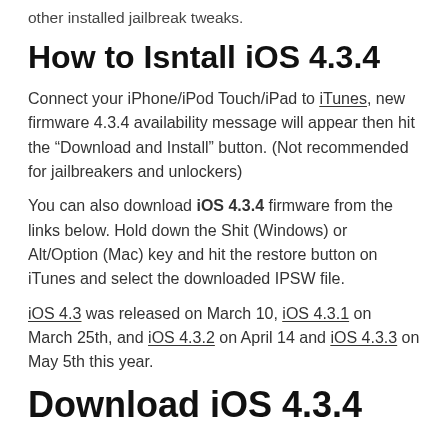other installed jailbreak tweaks.
How to Isntall iOS 4.3.4
Connect your iPhone/iPod Touch/iPad to iTunes, new firmware 4.3.4 availability message will appear then hit the “Download and Install” button. (Not recommended for jailbreakers and unlockers)
You can also download iOS 4.3.4 firmware from the links below. Hold down the Shit (Windows) or Alt/Option (Mac) key and hit the restore button on iTunes and select the downloaded IPSW file.
iOS 4.3 was released on March 10, iOS 4.3.1 on March 25th, and iOS 4.3.2 on April 14 and iOS 4.3.3 on May 5th this year.
Download iOS 4.3.4